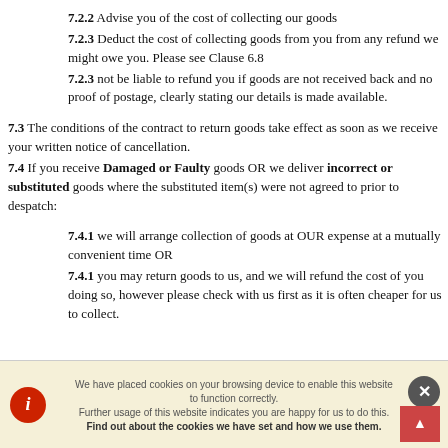7.2.2 Advise you of the cost of collecting our goods
7.2.3 Deduct the cost of collecting goods from you from any refund we might owe you. Please see Clause 6.8
7.2.3 not be liable to refund you if goods are not received back and no proof of postage, clearly stating our details is made available.
7.3 The conditions of the contract to return goods take effect as soon as we receive your written notice of cancellation.
7.4 If you receive Damaged or Faulty goods OR we deliver incorrect or substituted goods where the substituted item(s) were not agreed to prior to despatch:
7.4.1 we will arrange collection of goods at OUR expense at a mutually convenient time OR
7.4.1 you may return goods to us, and we will refund the cost of you doing so, however please check with us first as it is often cheaper for us to collect.
We have placed cookies on your browsing device to enable this website to function correctly. Further usage of this website indicates you are happy for us to do this. Find out about the cookies we have set and how we use them.